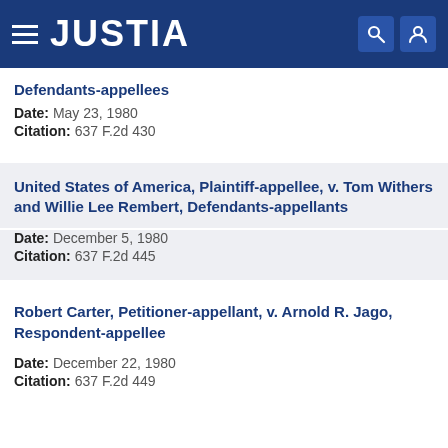JUSTIA
Defendants-appellees
Date: May 23, 1980
Citation: 637 F.2d 430
United States of America, Plaintiff-appellee, v. Tom Withers and Willie Lee Rembert, Defendants-appellants
Date: December 5, 1980
Citation: 637 F.2d 445
Robert Carter, Petitioner-appellant, v. Arnold R. Jago, Respondent-appellee
Date: December 22, 1980
Citation: 637 F.2d 449